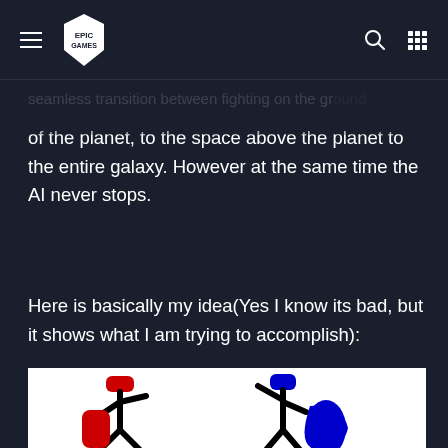Epic Games navigation bar with hamburger menu, Epic Games logo, search icon, and grid icon
seamless transition between fighting on the ground of the planet, to the space above the planet to the entire galaxy. However at the same time the AI never stops.
Here is basically my idea(Yes I know its bad, but it shows what I am trying to accomplish):
[Figure (illustration): Hand-drawn sketch on white background showing stick figures: two stick figures on a horizontal platform (one with red head/body on left, one with blue head/body on right), a smiley face below, and red and blue cross/plus shapes at the bottom.]